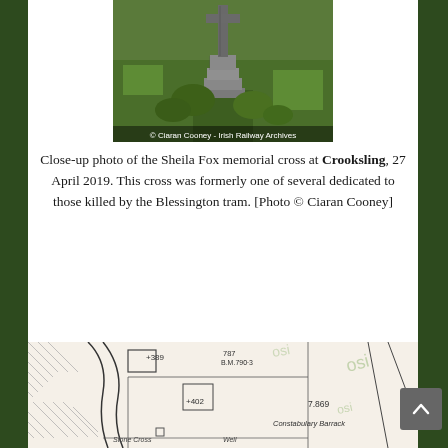[Figure (photo): Close-up photo of the Sheila Fox memorial cross at Crooksling — a stone cross monument on a stepped base surrounded by greenery. Watermark: © Ciaran Cooney - Irish Railway Archives]
Close-up photo of the Sheila Fox memorial cross at Crooksling, 27 April 2019. This cross was formerly one of several dedicated to those killed by the Blessington tram. [Photo © Ciaran Cooney]
[Figure (map): Ordnance Survey map excerpt showing Crooksling area with features including elevation markers (+389, +402, 787 B.M.790-3), 7.869 acres area, Constabulary Barrack, Stone Cross, and Well labels. OSI watermarks visible.]